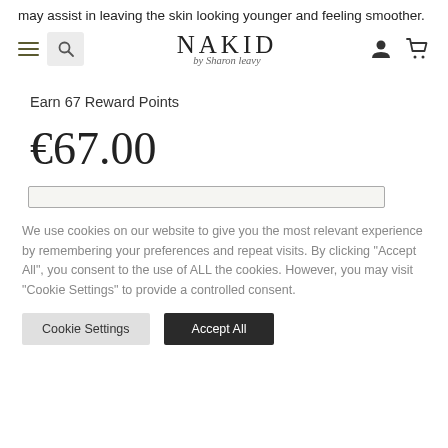may assist in leaving the skin looking younger and feeling smoother.
[Figure (screenshot): Navigation bar with hamburger menu, search icon, NAKID by Sharon Leavy logo, user icon, and cart icon]
Earn 67 Reward Points
€67.00
We use cookies on our website to give you the most relevant experience by remembering your preferences and repeat visits. By clicking "Accept All", you consent to the use of ALL the cookies. However, you may visit "Cookie Settings" to provide a controlled consent.
Cookie Settings  Accept All